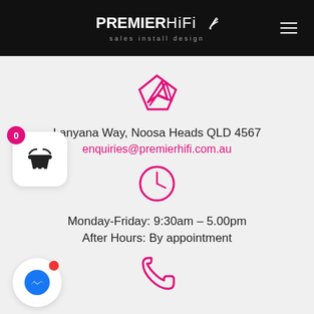PREMIER HiFi — sales install design
[Figure (illustration): Pink location/navigation arrow icon]
Lanyana Way, Noosa Heads QLD 4567
enquiries@premierhifi.com.au
[Figure (illustration): Pink clock/time icon]
Monday-Friday: 9:30am – 5.00pm
After Hours: By appointment
[Figure (illustration): Pink telephone/phone icon (partially visible at bottom)]
[Figure (illustration): Shopping basket widget with badge showing 0]
[Figure (illustration): Facebook Messenger chat widget with red notification dot]